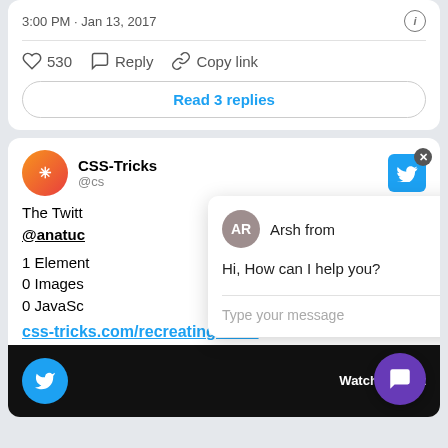3:00 PM · Jan 13, 2017
530   Reply   Copy link
Read 3 replies
CSS-Tricks @cs
The Twitt @anatuc
1 Element
0 Images
0 JavaSc
css-tricks.com/recreating-the...
[Figure (screenshot): Chat popup with agent Arsh from, message: Hi, How can I help you?, and a Type your message input box]
[Figure (screenshot): Video thumbnail showing Watch on Twit with blue circle]
[Figure (other): Purple chat FAB button in bottom right]